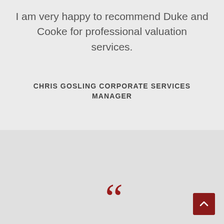I am very happy to recommend Duke and Cooke for professional valuation services.
CHRIS GOSLING CORPORATE SERVICES MANAGER
[Figure (illustration): Large decorative opening quotation mark in dark red color, followed by a scroll-to-top button in dark red in the bottom right corner]